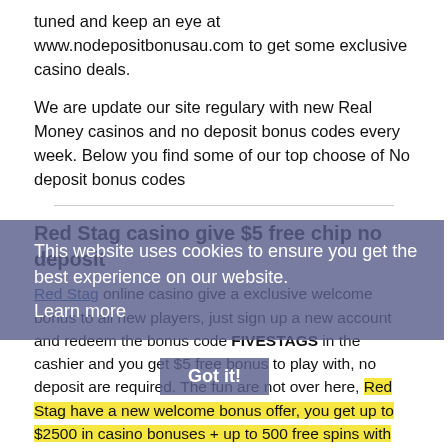tuned and keep an eye at www.nodepositbonusau.com to get some exclusive casino deals.
We are update our site regulary with new Real Money casinos and no deposit bonus codes every week. Below you find some of our top choose of No deposit bonus codes
Red Stag casino give $5 free chip no deposit
Red Stag online casino give a exclusive welcome bonus to all new players, just sign up a new account and redeem the bonus code FIVESTAGS in the cashier and you get $5 free bonus to play with, no deposit are required. The fun are not over here, Red Stag have a new welcome bonus offer, you get up to $2500 in casino bonuses + up to 500 free spins with your seven first deposits. Make a first deposit of $25 or
This website uses cookies to ensure you get the best experience on our website.
Learn more
Got it!